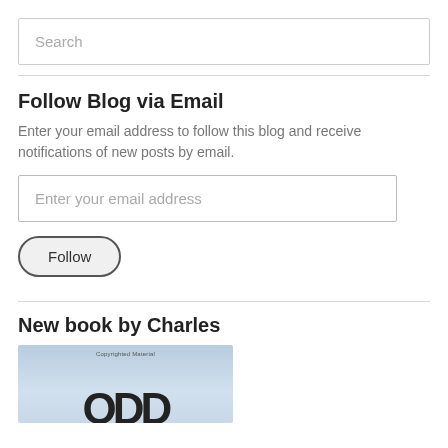Search
Follow Blog via Email
Enter your email address to follow this blog and receive notifications of new posts by email.
Enter your email address
Follow
New book by Charles
[Figure (photo): Book cover image with blue/grey gradient background, 'Copyrighted Material' text at top, and large dark letters at the bottom.]